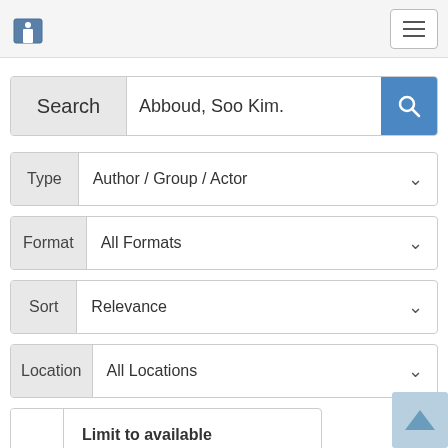Library catalog navigation header with home icon and menu button
Search: Abboud, Soo Kim.
Type: Author / Group / Actor
Format: All Formats
Sort: Relevance
Location: All Locations
Limit to available
Limit to physical items